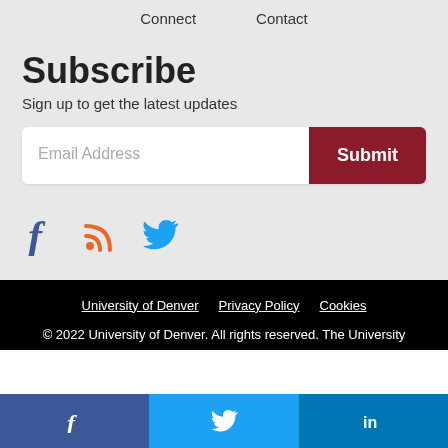Connect   Contact
Subscribe
Sign up to get the latest updates
Email Address  Submit
[Figure (other): Social media icons: Facebook, RSS, Twitter]
University of Denver   Privacy Policy   Cookies
© 2022 University of Denver. All rights reserved. The University
[Figure (other): Social share bar with Facebook, Twitter, and LinkedIn icons]